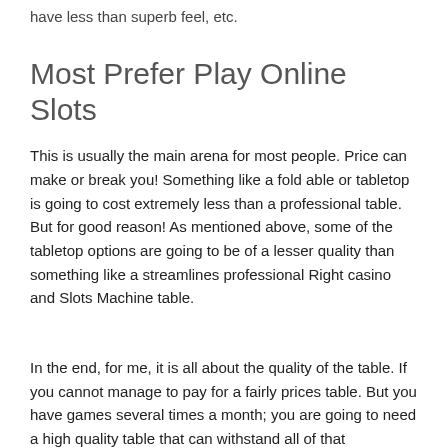have less than superb feel, etc.
Most Prefer Play Online Slots
This is usually the main arena for most people. Price can make or break you! Something like a fold able or tabletop is going to cost extremely less than a professional table. But for good reason! As mentioned above, some of the tabletop options are going to be of a lesser quality than something like a streamlines professional Right casino and Slots Machine table.
In the end, for me, it is all about the quality of the table. If you cannot manage to pay for a fairly prices table. But you have games several times a month; you are going to need a high quality table that can withstand all of that